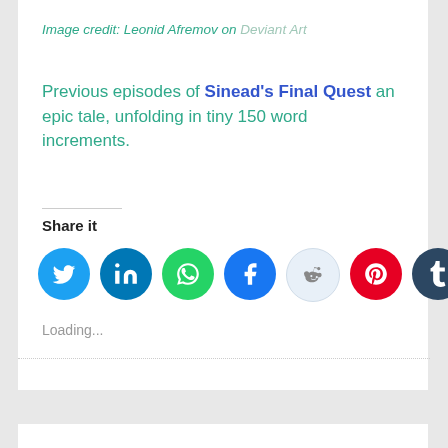Image credit: Leonid Afremov on Deviant Art
Previous episodes of Sinead's Final Quest an epic tale, unfolding in tiny 150 word increments.
Share it
[Figure (infographic): Row of social media share icons: Twitter (blue), LinkedIn (dark blue), WhatsApp (green), Facebook (blue), Reddit (light blue), Pinterest (red), Tumblr (dark navy)]
Loading...